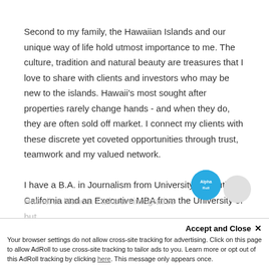Second to my family, the Hawaiian Islands and our unique way of life hold utmost importance to me. The culture, tradition and natural beauty are treasures that I love to share with clients and investors who may be new to the islands. Hawaii's most sought after properties rarely change hands - and when they do, they are often sold off market. I connect my clients with these discrete yet coveted opportunities through trust, teamwork and my valued network.

I have a B.A. in Journalism from University of Southern California and an Executive MBA from the University of Hawaii at Manoa. I take an integrative but...
Accept and Close ✕
Your browser settings do not allow cross-site tracking for advertising. Click on this page to allow AdRoll to use cross-site tracking to tailor ads to you. Learn more or opt out of this AdRoll tracking by clicking here. This message only appears once.